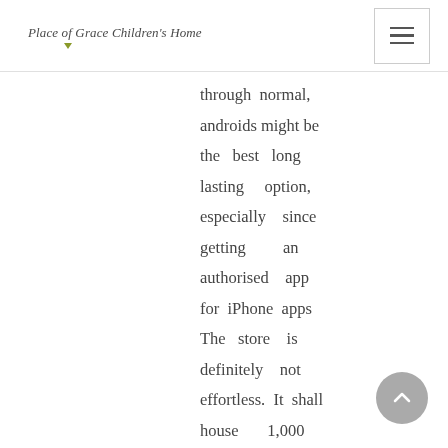Place of Grace Children's Home
through normal, androids might be the best long lasting option, especially since getting an authorised app for iPhone apps The store is definitely not effortless. It shall house 1,000 movie lottery terminals and 20